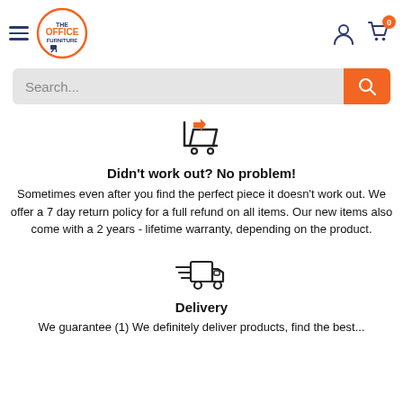[Figure (logo): Office Furniture logo with orange circle and shopping cart icon inside text]
[Figure (illustration): Search bar with orange search button]
[Figure (illustration): Return/shopping cart icon in dark color with orange arrow]
Didn't work out? No problem!
Sometimes even after you find the perfect piece it doesn't work out. We offer a 7 day return policy for a full refund on all items. Our new items also come with a 2 years - lifetime warranty, depending on the product.
[Figure (illustration): Delivery truck icon with speed lines]
Delivery
We guarantee (1) We definitely deliver products, find the best...